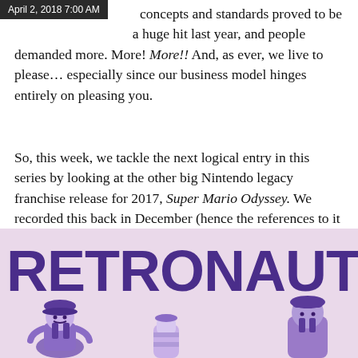April 2, 2018 7:00 AM
concepts and standards proved to be a huge hit last year, and people demanded more. More! More!! And, as ever, we live to please… especially since our business model hinges entirely on pleasing you.
So, this week, we tackle the next logical entry in this series by looking at the other big Nintendo legacy franchise release for 2017, Super Mario Odyssey. We recorded this back in December (hence the references to it being 2017!), but we decided to hold off on publishing a while to give people a little more time to play the game. As such, it's a no-holds-barred spoiler minefield here. Please understand.
[Figure (illustration): Retronauts podcast artwork with large purple RETRONAUTS text and illustrated characters including Mario-like figures on a light pink/lavender background]